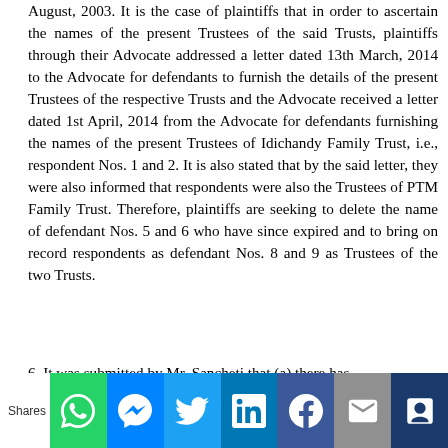August, 2003. It is the case of plaintiffs that in order to ascertain the names of the present Trustees of the said Trusts, plaintiffs through their Advocate addressed a letter dated 13th March, 2014 to the Advocate for defendants to furnish the details of the present Trustees of the respective Trusts and the Advocate received a letter dated 1st April, 2014 from the Advocate for defendants furnishing the names of the present Trustees of Idichandy Family Trust, i.e., respondent Nos. 1 and 2. It is also stated that by the said letter, they were also informed that respondents were also the Trustees of PTM Family Trust. Therefore, plaintiffs are seeking to delete the name of defendant Nos. 5 and 6 who have since expired and to bring on record respondents as defendant Nos. 8 and 9 as Trustees of the two Trusts.
6. It was submitted by Mr. Sancheti that (a) there has